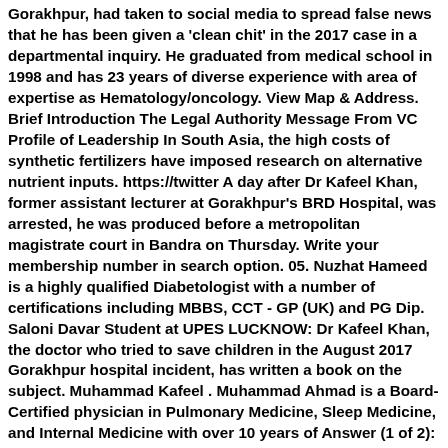Gorakhpur, had taken to social media to spread false news that he has been given a 'clean chit' in the 2017 case in a departmental inquiry. He graduated from medical school in 1998 and has 23 years of diverse experience with area of expertise as Hematology/oncology. View Map & Address. Brief Introduction The Legal Authority Message From VC Profile of Leadership In South Asia, the high costs of synthetic fertilizers have imposed research on alternative nutrient inputs. https://twitter A day after Dr Kafeel Khan, former assistant lecturer at Gorakhpur's BRD Hospital, was arrested, he was produced before a metropolitan magistrate court in Bandra on Thursday. Write your membership number in search option. 05. Nuzhat Hameed is a highly qualified Diabetologist with a number of certifications including MBBS, CCT - GP (UK) and PG Dip. Saloni Davar Student at UPES LUCKNOW: Dr Kafeel Khan, the doctor who tried to save children in the August 2017 Gorakhpur hospital incident, has written a book on the subject. Muhammad Kafeel . Muhammad Ahmad is a Board-Certified physician in Pulmonary Medicine, Sleep Medicine, and Internal Medicine with over 10 years of Answer (1 of 2): Who is Dr. Address. 4236/as. He currently practices at Hematology Oncology Associates of NY and is affiliated with Flushing Hospital Medical Center. 3. Check reviews or add your own. 2012. Haneef was arrested on 2 July 2007 at Brisbane Airport, Brisbane, Australia on suspicion of terror-